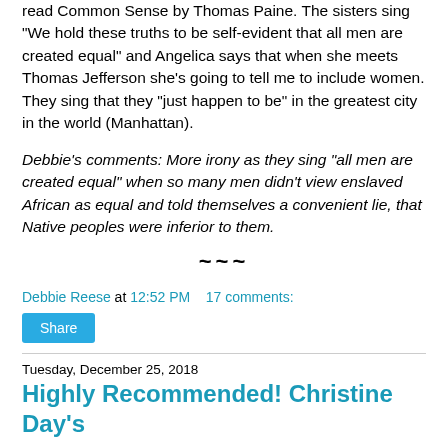read Common Sense by Thomas Paine. The sisters sing "We hold these truths to be self-evident that all men are created equal" and Angelica says that when she meets Thomas Jefferson she's going to tell me to include women. They sing that they "just happen to be" in the greatest city in the world (Manhattan).
Debbie's comments: More irony as they sing "all men are created equal" when so many men didn't view enslaved African as equal and told themselves a convenient lie, that Native peoples were inferior to them.
~~~
Debbie Reese at 12:52 PM   17 comments:
Share
Tuesday, December 25, 2018
Highly Recommended! Christine Day's